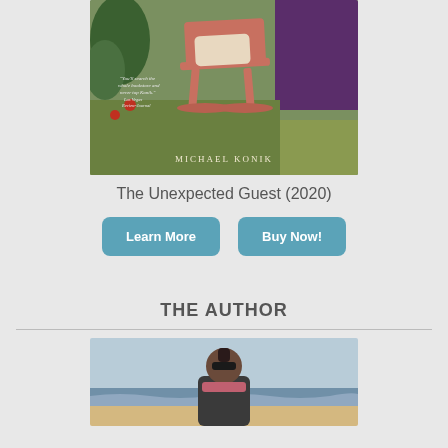[Figure (photo): Book cover of 'The Unexpected Guest' by Michael Konik showing a rocking chair on a porch with a purple door]
The Unexpected Guest (2020)
Learn More
Buy Now!
THE AUTHOR
[Figure (photo): Photo of Michael Konik standing on a beach with ocean waves behind him, wearing sunglasses and a dark jacket]